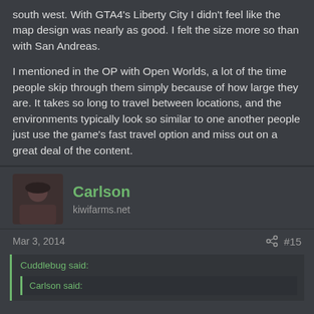south west. With GTA4's Liberty City I didn't feel like the map design was nearly as good. I felt the size more so than with San Andreas.
I mentioned in the OP with Open Worlds, a lot of the time people skip through them simply because of how large they are. It takes so long to travel between locations, and the environments typically look so similar to one another people just use the game's fast travel option and miss out on a great deal of the content.
Carlson
kiwifarms.net
Mar 3, 2014
#15
Cuddlebug said:
Carlson said: